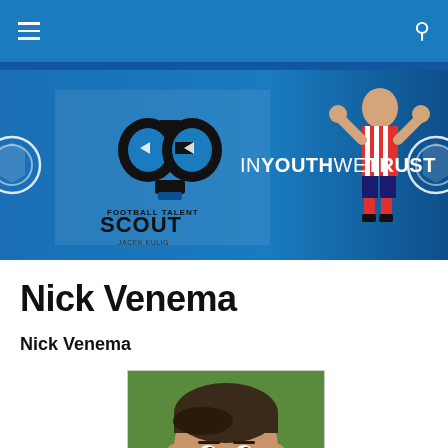Navigation bar with hamburger menu and search icon
[Figure (illustration): Football Talent Scout Jacek Kulig banner with logo (binoculars), footballer in red-white striped Atletico Madrid kit making binoculars gesture, and text IN YOUTH WE TRUST on blue gradient background]
Nick Venema
Nick Venema
[Figure (photo): Headshot photo of a young male footballer (Nick Venema) with short dark hair against a green grass background]